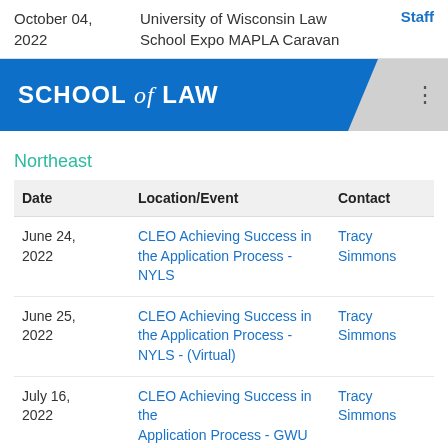| Date | Location/Event | Contact |
| --- | --- | --- |
| October 04, 2022 | University of Wisconsin Law School Expo MAPLA Caravan | Staff |
[Figure (logo): School of Law banner with blue background and white text reading SCHOOL of LAW with a decorative tail and menu dots]
Northeast
| Date | Location/Event | Contact |
| --- | --- | --- |
| June 24, 2022 | CLEO Achieving Success in the Application Process - NYLS | Tracy Simmons |
| June 25, 2022 | CLEO Achieving Success in the Application Process - NYLS - (Virtual) | Tracy Simmons |
| July 16, 2022 | CLEO Achieving Success in the Application Process - GWU | Tracy Simmons |